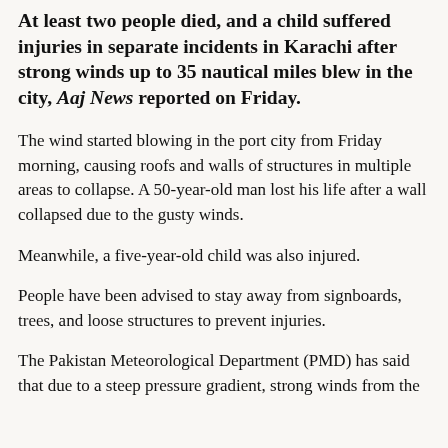At least two people died, and a child suffered injuries in separate incidents in Karachi after strong winds up to 35 nautical miles blew in the city, Aaj News reported on Friday.
The wind started blowing in the port city from Friday morning, causing roofs and walls of structures in multiple areas to collapse. A 50-year-old man lost his life after a wall collapsed due to the gusty winds.
Meanwhile, a five-year-old child was also injured.
People have been advised to stay away from signboards, trees, and loose structures to prevent injuries.
The Pakistan Meteorological Department (PMD) has said that due to a steep pressure gradient, strong winds from the